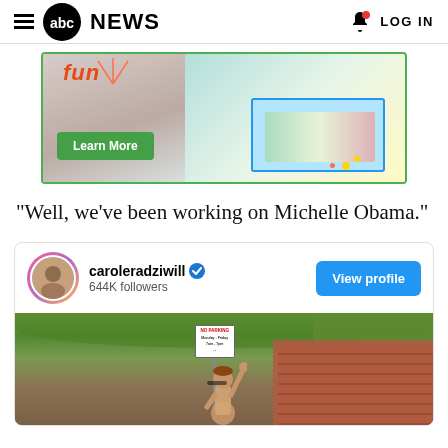ABC News | LOG IN
[Figure (photo): Advertisement banner with children playing with educational materials, green Learn More button, surrounded by a green border]
"Well, we've been working on Michelle Obama."
[Figure (screenshot): Instagram profile card for caroleradziwill with 644K followers and a View profile button, followed by a photo of a street scene with no parking sign and person raising hand]
caroleradziwill 644K followers
View profile